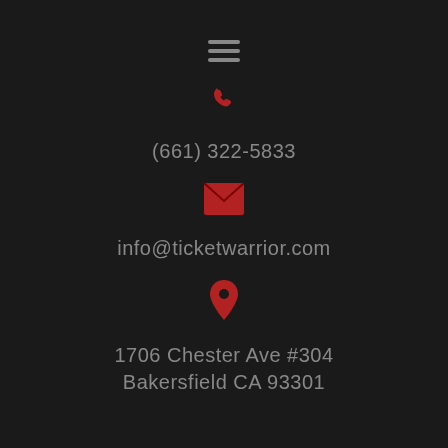[Figure (illustration): Hamburger menu icon (three horizontal gray lines)]
[Figure (illustration): Red phone/call icon]
(661) 322-5833
[Figure (illustration): Red envelope/email icon]
info@ticketwarrior.com
[Figure (illustration): Red map pin/location icon]
1706 Chester Ave #304 Bakersfield CA 93301